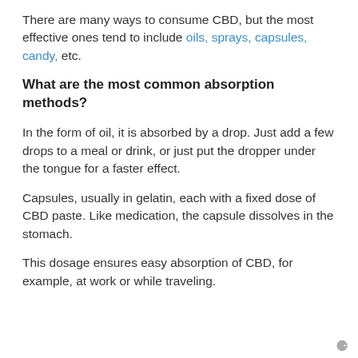There are many ways to consume CBD, but the most effective ones tend to include oils, sprays, capsules, candy, etc.
What are the most common absorption methods?
In the form of oil, it is absorbed by a drop. Just add a few drops to a meal or drink, or just put the dropper under the tongue for a faster effect.
Capsules, usually in gelatin, each with a fixed dose of CBD paste. Like medication, the capsule dissolves in the stomach.
This dosage ensures easy absorption of CBD, for example, at work or while traveling.